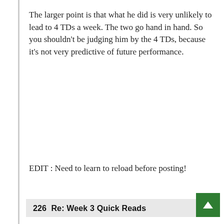The larger point is that what he did is very unlikely to lead to 4 TDs a week. The two go hand in hand. So you shouldn't be judging him by the 4 TDs, because it's not very predictive of future performance.
EDIT : Need to learn to reload before posting!
226  Re: Week 3 Quick Reads
by horn // Sep 30, 2010 - 3:04pm
Well, if you're going to nitpick, DeSean cost the Eagles a first down on a perfectly thrown ball on 3rd and long by running sideways instead of falling fwd for an easy first down. Blaming that on Vick is